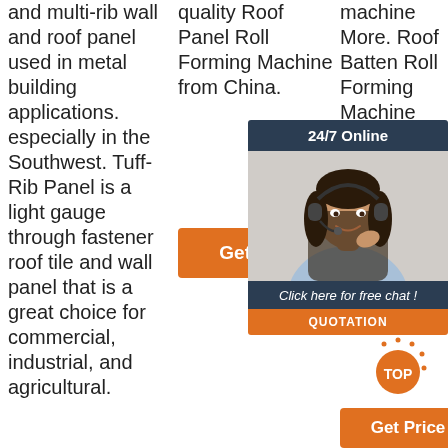and multi-rib wall and roof panel used in metal building applications. especially in the Southwest. Tuff-Rib Panel is a light gauge through fastener roof tile and wall panel that is a great choice for commercial, industrial, and agricultural.
quality Roof Panel Roll Forming Machine from China.
[Figure (other): Orange 'Get Price' button]
machine More. Roof Batten Roll Forming Machine More. Wind... Shut... Insu... Mac... IBR ... Corr... PV4... TR4... Panel roll forming Machine More.
[Figure (other): 24/7 Online chat widget with photo of woman with headset, 'Click here for free chat!' text, and orange QUOTATION button]
[Figure (other): Orange 'TOP' scroll-to-top button with decorative dots]
[Figure (other): Orange 'Get Price' button at bottom of right column]